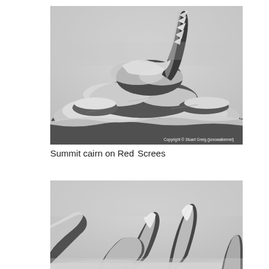[Figure (photo): Snow-covered summit cairn on Red Screes, with icy rock formations against a grey misty sky. Copyright © Stuart Greig (jonowalkernet) watermark visible in bottom right.]
Summit cairn on Red Screes
[Figure (photo): Another view of snow-covered rocky peaks on Red Screes, showing jagged snow-laden rocks against a pale grey overcast sky, partially cropped at bottom of page.]